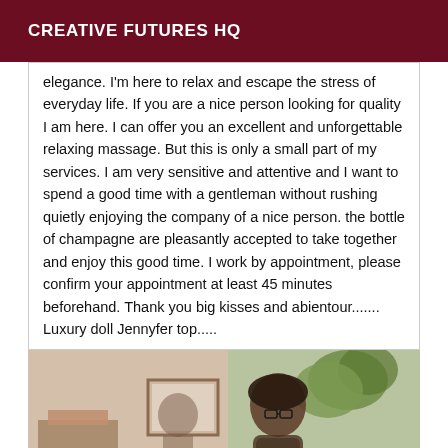CREATIVE FUTURES HQ
elegance. I'm here to relax and escape the stress of everyday life. If you are a nice person looking for quality I am here. I can offer you an excellent and unforgettable relaxing massage. But this is only a small part of my services. I am very sensitive and attentive and I want to spend a good time with a gentleman without rushing quietly enjoying the company of a nice person. the bottle of champagne are pleasantly accepted to take together and enjoy this good time. I work by appointment, please confirm your appointment at least 45 minutes beforehand. Thank you big kisses and abientour....... Luxury doll Jennyfer top.....
[Figure (photo): A photo of a person in an indoor setting with furniture and plants visible in the background. The person has dark hair and appears to be wearing glasses.]